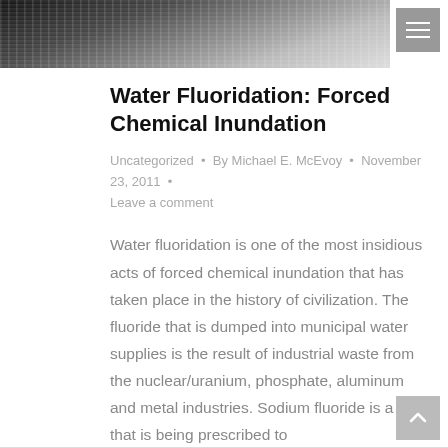[Figure (photo): Black and white header image with dark tones, appears to show water or landscape]
Water Fluoridation: Forced Chemical Inundation
Uncategorized • By Michael E. McEvoy • November 23, 2011 • Leave a comment
Water fluoridation is one of the most insidious acts of forced chemical inundation that has taken place in the history of civilization. The fluoride that is dumped into municipal water supplies is the result of industrial waste from the nuclear/uranium, phosphate, aluminum and metal industries. Sodium fluoride is a drug that is being prescribed to
Details ▶